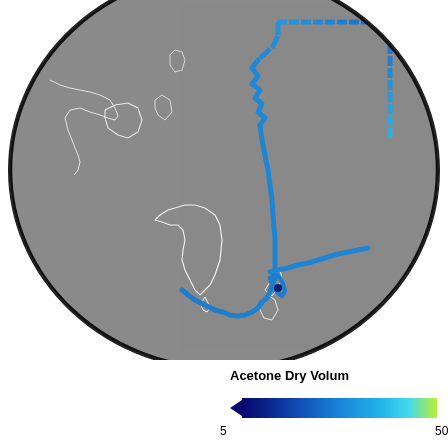[Figure (map): Globe map showing flight/ship track over the Pacific and Southern Ocean region (Australia, New Zealand, Southeast Asia visible). Track is colored by Acetone Dry Volume mixing ratio, ranging from deep blue (~5) to cyan/yellow-green (~higher values). A bright yellow-green dot is visible in the upper right. Coastlines are drawn in white on a gray globe background.]
Acetone Dry Volum[e mixing ratio colorbar]; scale from 5 to 504